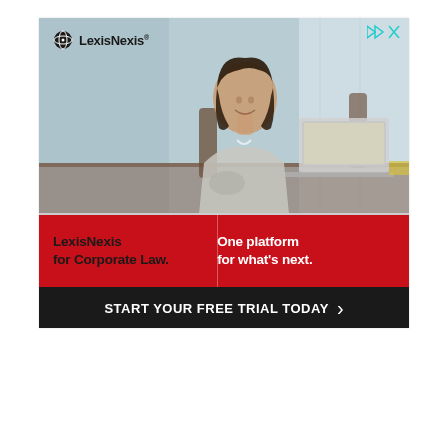[Figure (illustration): LexisNexis advertisement banner. Shows a smiling woman in a grey blazer sitting at a desk with a laptop, in a bright office environment. LexisNexis logo (globe icon + wordmark) appears top left of the photo. Small ad-indicator icons (play-forward and X) appear top right. Below the photo is a red band with 'LexisNexis for Corporate Law.' on the left in black bold text and 'One platform for what's next.' on the right in white bold text. Below that a black band with 'START YOUR FREE TRIAL TODAY' in white bold uppercase and a right-pointing chevron.]
LexisNexis for Corporate Law.
One platform for what's next.
START YOUR FREE TRIAL TODAY